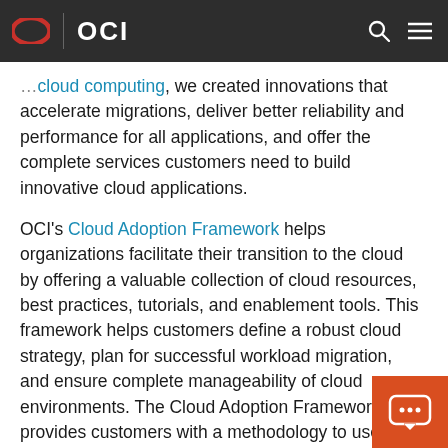OCI
cloud computing, we created innovations that accelerate migrations, deliver better reliability and performance for all applications, and offer the complete services customers need to build innovative cloud applications.
OCI's Cloud Adoption Framework helps organizations facilitate their transition to the cloud by offering a valuable collection of cloud resources, best practices, tutorials, and enablement tools. This framework helps customers define a robust cloud strategy, plan for successful workload migration, and ensure complete manageability of cloud environments. The Cloud Adoption Framework provides customers with a methodology to use Oracle Cloud built-in efficiencies such as Cloud Lift Services, and key value programs including Oracle Support Rewards.